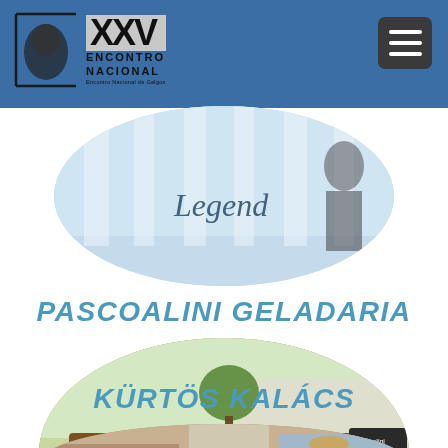XXV Encontro Nacional
[Figure (photo): Top partial oval-cropped photo showing a person near a blue and white striped awning with cursive text 'Legend']
PASCOALINI GELADARIA
[Figure (photo): Oval-cropped photo of a brown food truck/trailer branded 'Pascoalini Geladaria' with ice cream cone decorations and a chalkboard menu, sign reads 'GELADO ARTESANAL']
KÜRTÖS KALÁCS
[Figure (photo): Partial oval-cropped photo at the bottom showing a food stall or vendor area]